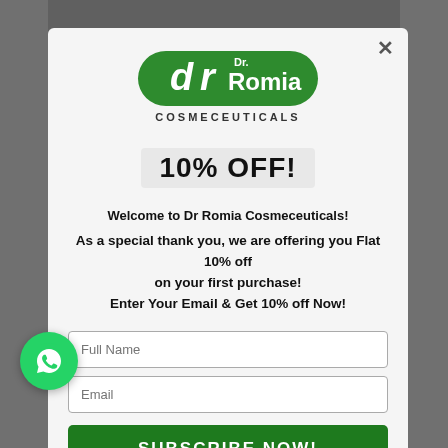[Figure (logo): Dr. Romia Cosmeceuticals logo - green pill shape with stylized d and r letters and Dr. Romia text, with COSMECEUTICALS below]
10% OFF!
Welcome to Dr Romia Cosmeceuticals!
As a special thank you, we are offering you Flat 10% off on your first purchase! Enter Your Email & Get 10% off Now!
Full Name
Email
SUBSCRIBE NOW!